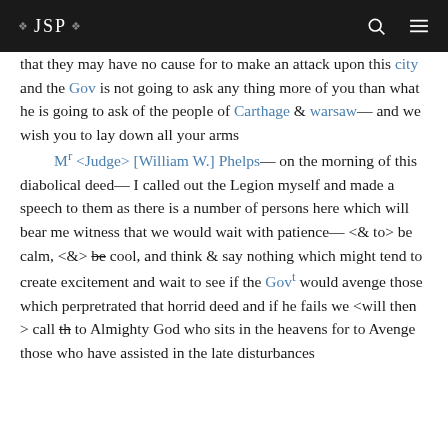❖ JSP ❖
that they may have no cause for to make an attack upon this city and the Gov is not going to ask any thing more of you than what he is going to ask of the people of Carthage & warsaw— and we wish you to lay down all your arms
    Mr <Judge> [William W.] Phelps— on the morning of this diabolical deed— I called out the Legion myself and made a speech to them as there is a number of persons here which will bear me witness that we would wait with patience— <& to> be calm, <&> be cool, and think & say nothing which might tend to create excitement and wait to see if the Govt would avenge those which perpretrated that horrid deed and if he fails we <will then > call th to Almighty God who sits in the heavens for to Avenge those who have assisted in the late disturbances